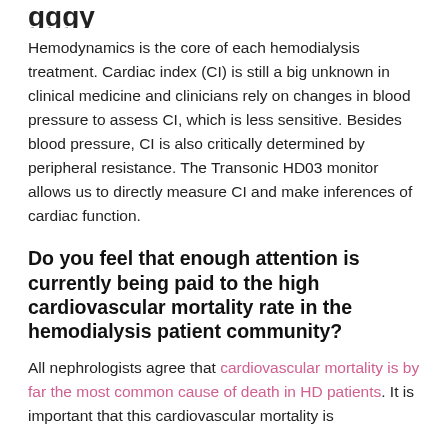...gggy... (partial heading visible at top)
Hemodynamics is the core of each hemodialysis treatment. Cardiac index (CI) is still a big unknown in clinical medicine and clinicians rely on changes in blood pressure to assess CI, which is less sensitive. Besides blood pressure, CI is also critically determined by peripheral resistance. The Transonic HD03 monitor allows us to directly measure CI and make inferences of cardiac function.
Do you feel that enough attention is currently being paid to the high cardiovascular mortality rate in the hemodialysis patient community?
All nephrologists agree that cardiovascular mortality is by far the most common cause of death in HD patients. It is important that this cardiovascular mortality is